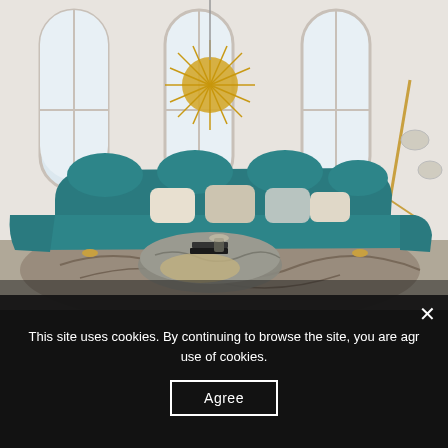[Figure (photo): Interior design photo showing a luxurious living room with a teal/dark green curved sectional sofa with cream pillows, a gold sputnik chandelier hanging from the ceiling, arched windows letting in natural light, a marble-topped round coffee table with metallic base, a patterned rug, and a brass floor lamp in the corner.]
This site uses cookies. By continuing to browse the site, you are agr use of cookies.
Agree